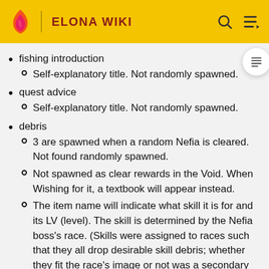ELONA WIKI
fishing introduction
Self-explanatory title. Not randomly spawned.
quest advice
Self-explanatory title. Not randomly spawned.
debris
3 are spawned when a random Nefia is cleared. Not found randomly spawned.
Not spawned as clear rewards in the Void. When Wishing for it, a textbook will appear instead.
The item name will indicate what skill it is for and its LV (level). The skill is determined by the Nefia boss's race. (Skills were assigned to races such that they all drop desirable skill debris; whether they fit the race's image or not was a secondary